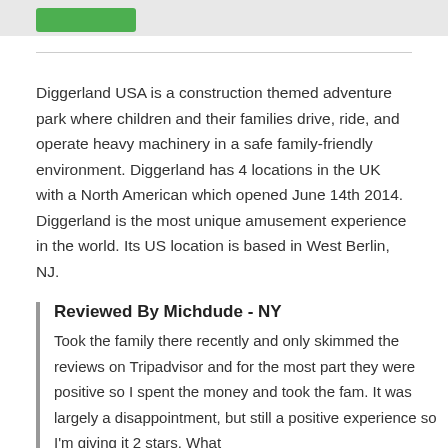[Figure (other): Green button/logo at top left]
Diggerland USA is a construction themed adventure park where children and their families drive, ride, and operate heavy machinery in a safe family-friendly environment. Diggerland has 4 locations in the UK with a North American which opened June 14th 2014. Diggerland is the most unique amusement experience in the world. Its US location is based in West Berlin, NJ.
Reviewed By Michdude - NY
Took the family there recently and only skimmed the reviews on Tripadvisor and for the most part they were positive so I spent the money and took the fam. It was largely a disappointment, but still a positive experience so I'm giving it 2 stars. What